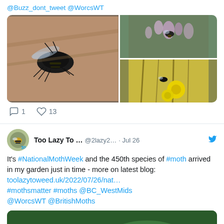@Buzz_dont_tweet @WorcsWT
[Figure (photo): Photo grid: left large photo of a dark bee on a surface; top right photo of a bee on purple lavender flowers; bottom right photo of a bee near yellow flowers]
1 reply, 13 likes
Too Lazy To ... @2lazy2... · Jul 26
It's #NationalMothWeek and the 450th species of #moth arrived in my garden just in time - more on latest blog: toolazytoweed.uk/2022/07/26/nat... #mothsmatter #moths @BC_WestMids @WorcsWT @BritishMoths
[Figure (photo): Partial photo of green foliage, cropped at bottom of page]